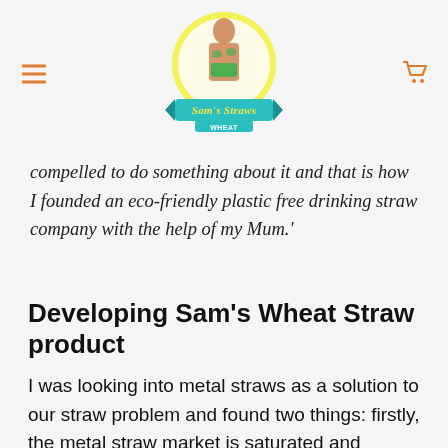Sam's Straws Wheat - website header with logo, hamburger menu, and cart icon
compelled to do something about it and that is how I founded an eco-friendly plastic free drinking straw company with the help of my Mum.'
Developing Sam's Wheat Straw product
I was looking into metal straws as a solution to our straw problem and found two things: firstly, the metal straw market is saturated and secondly,